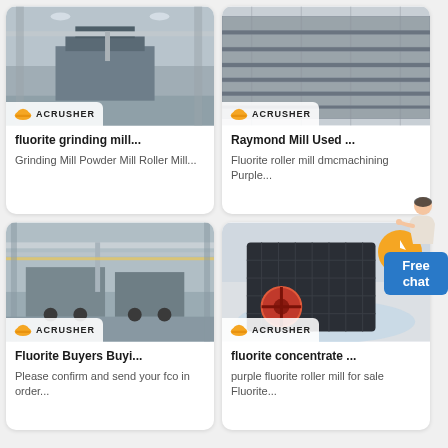[Figure (photo): Industrial grinding mill equipment inside a factory warehouse, Acrusher logo]
fluorite grinding mill...
Grinding Mill Powder Mill Roller Mill...
[Figure (photo): Metal structural beams or Raymond Mill components close-up, Acrusher logo]
Raymond Mill Used ...
Fluorite roller mill dmcmachining Purple...
[Figure (photo): Large industrial trucks or machinery inside a factory, Acrusher logo]
Fluorite Buyers Buyi...
Please confirm and send your fco in order...
[Figure (photo): Heavy crusher machine with orange accents and Acrusher logo, with circular icon overlay]
fluorite concentrate ...
purple fluorite roller mill for sale Fluorite...